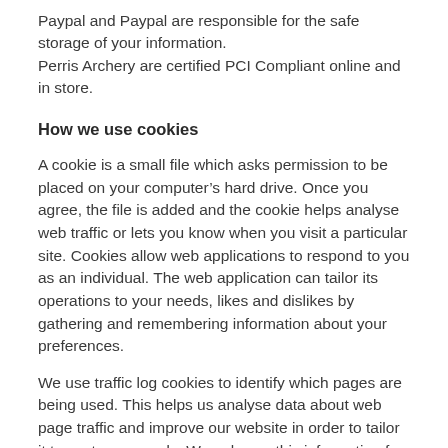Paypal and Paypal are responsible for the safe storage of your information.
Perris Archery are certified PCI Compliant online and in store.
How we use cookies
A cookie is a small file which asks permission to be placed on your computer’s hard drive. Once you agree, the file is added and the cookie helps analyse web traffic or lets you know when you visit a particular site. Cookies allow web applications to respond to you as an individual. The web application can tailor its operations to your needs, likes and dislikes by gathering and remembering information about your preferences.
We use traffic log cookies to identify which pages are being used. This helps us analyse data about web page traffic and improve our website in order to tailor it to customer needs. We only use this information for